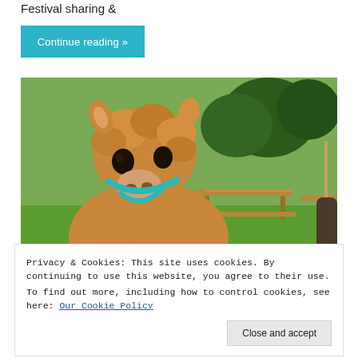Festival sharing &
Continue reading »
[Figure (photo): Close-up photo of an alpaca with fluffy brown/golden fur and a teal harness, looking directly at the camera. Background shows green grass, a wooden picnic bench, and trees.]
Privacy & Cookies: This site uses cookies. By continuing to use this website, you agree to their use.
To find out more, including how to control cookies, see here: Our Cookie Policy
Close and accept
November 29, 2019  •  Gift / Make / nature